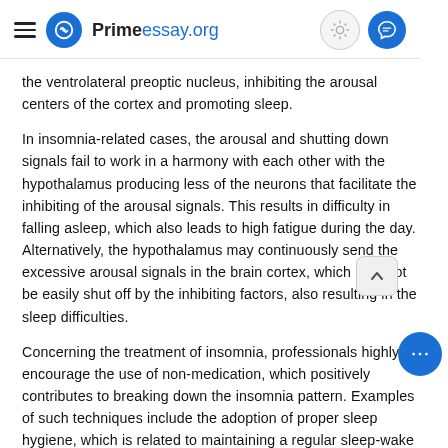Primeessay.org
the ventrolateral preoptic nucleus, inhibiting the arousal centers of the cortex and promoting sleep.
In insomnia-related cases, the arousal and shutting down signals fail to work in a harmony with each other with the hypothalamus producing less of the neurons that facilitate the inhibiting of the arousal signals. This results in difficulty in falling asleep, which also leads to high fatigue during the day. Alternatively, the hypothalamus may continuously send the excessive arousal signals in the brain cortex, which may not be easily shut off by the inhibiting factors, also resulting in the sleep difficulties.
Concerning the treatment of insomnia, professionals highly encourage the use of non-medication, which positively contributes to breaking down the insomnia pattern. Examples of such techniques include the adoption of proper sleep hygiene, which is related to maintaining a regular sleep-wake schedule and the use of good sleeping conditions.